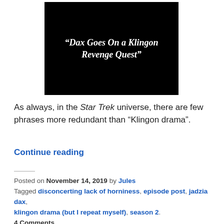[Figure (screenshot): Black background image with white italic bold text reading: "Dax Goes On a Klingon Revenge Quest"]
As always, in the Star Trek universe, there are few phrases more redundant than “Klingon drama”.
Continue reading
Posted on November 14, 2019 by Jules
Tagged disconcerting lack of horniness, episode post, jadzia dax, klingon drama (but I repeat myself), season 2.
4 Comments